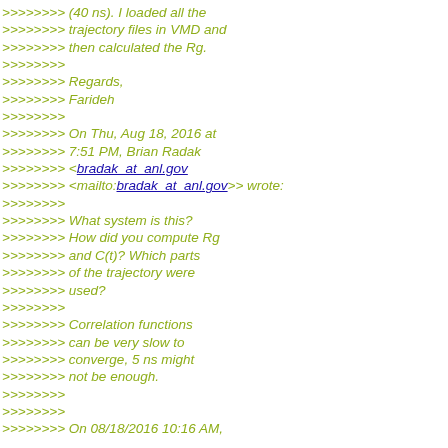>>>>>>> (40 ns). I loaded all the
>>>>>>> trajectory files in VMD and
>>>>>>> then calculated the Rg.
>>>>>>>
>>>>>>> Regards,
>>>>>>> Farideh
>>>>>>>
>>>>>>> On Thu, Aug 18, 2016 at
>>>>>>> 7:51 PM, Brian Radak
>>>>>>> <bradak_at_anl.gov
>>>>>>> <mailto:bradak_at_anl.gov>> wrote:
>>>>>>>
>>>>>>> What system is this?
>>>>>>> How did you compute Rg
>>>>>>> and C(t)? Which parts
>>>>>>> of the trajectory were
>>>>>>> used?
>>>>>>>
>>>>>>> Correlation functions
>>>>>>> can be very slow to
>>>>>>> converge, 5 ns might
>>>>>>> not be enough.
>>>>>>>
>>>>>>>
>>>>>>> On 08/18/2016 10:16 AM,